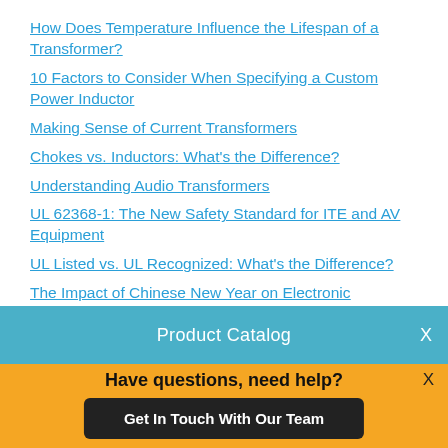How Does Temperature Influence the Lifespan of a Transformer?
10 Factors to Consider When Specifying a Custom Power Inductor
Making Sense of Current Transformers
Chokes vs. Inductors: What's the Difference?
Understanding Audio Transformers
UL 62368-1: The New Safety Standard for ITE and AV Equipment
UL Listed vs. UL Recognized: What's the Difference?
The Impact of Chinese New Year on Electronic Component
Product Catalog
Have questions, need help?
Get In Touch With Our Team